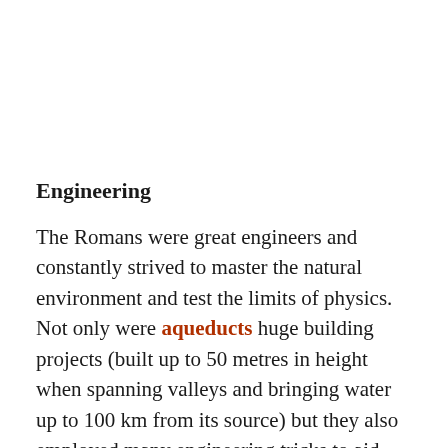Engineering
The Romans were great engineers and constantly strived to master the natural environment and test the limits of physics. Not only were aqueducts huge building projects (built up to 50 metres in height when spanning valleys and bringing water up to 100 km from its source) but they also employed many engineering tricks to aid water flow and increase purity: inverted siphons, stopcocks, settling tanks, aerating cascades, and mesh filters. Tunnels were constructed to provide